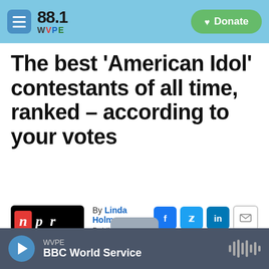88.1 WVPE — Donate
The best 'American Idol' contestants of all time, ranked – according to your votes
By Linda Holmes
Published June 16, 2022 at 5:00 AM EDT
WVPE BBC World Service